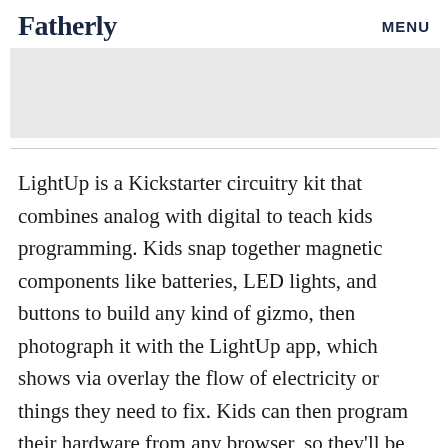Fatherly   MENU
[Figure (photo): Light-colored image area partially visible at top of page, appears to be a colorful product or illustration photo]
LightUp is a Kickstarter circuitry kit that combines analog with digital to teach kids programming. Kids snap together magnetic components like batteries, LED lights, and buttons to build any kind of gizmo, then photograph it with the LightUp app, which shows via overlay the flow of electricity or things they need to fix. Kids can then program their hardware from any browser, so they'll be well equipped to become a programmer or an electrician. How practical.